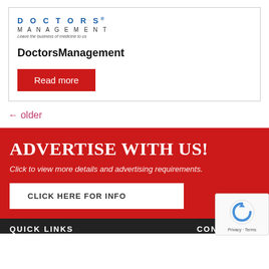[Figure (logo): Doctors Management logo with tagline 'Leave the business of medicine to us']
DoctorsManagement
Read more
← older
ADVERTISE WITH US!
Click to view more details and advertising requirements.
CLICK HERE FOR INFO
QUICK LINKS    CONTACT US